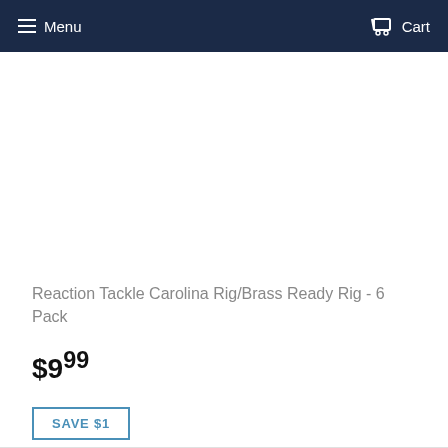Menu   Cart
Reaction Tackle Carolina Rig/Brass Ready Rig - 6 Pack
$9.99
SAVE $1